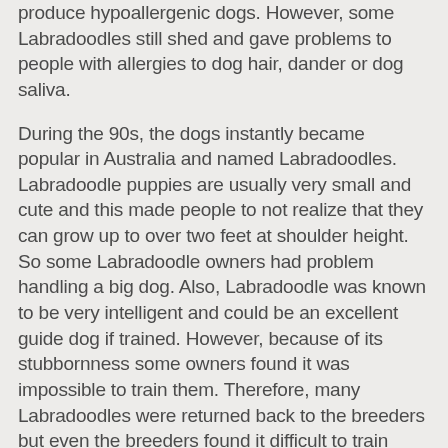produce hypoallergenic dogs. However, some Labradoodles still shed and gave problems to people with allergies to dog hair, dander or dog saliva.
During the 90s, the dogs instantly became popular in Australia and named Labradoodles. Labradoodle puppies are usually very small and cute and this made people to not realize that they can grow up to over two feet at shoulder height. So some Labradoodle owners had problem handling a big dog. Also, Labradoodle was known to be very intelligent and could be an excellent guide dog if trained. However, because of its stubbornness some owners found it was impossible to train them. Therefore, many Labradoodles were returned back to the breeders but even the breeders found it difficult to train them. Also, the owners who bought Labradoodles thinking that they were hypoallergenic dogs also returned them to the breeders because